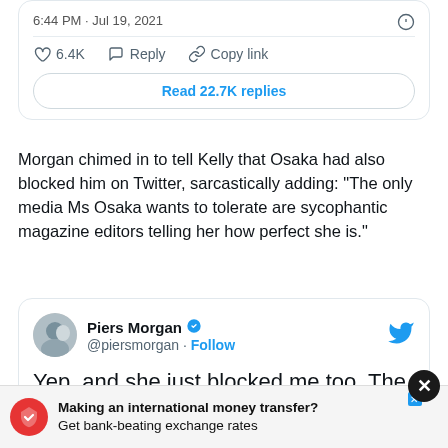[Figure (screenshot): Top portion of a Twitter/social media card showing timestamp '6:44 PM · Jul 19, 2021', like count 6.4K, Reply button, Copy link button, and 'Read 22.7K replies' button]
Morgan chimed in to tell Kelly that Osaka had also blocked him on Twitter, sarcastically adding: “The only media Ms Osaka wants to tolerate are sycophantic magazine editors telling her how perfect she is.”
[Figure (screenshot): Tweet from Piers Morgan (@piersmorgan) with verified checkmark and Follow button. Tweet text: 'Yep, and she just blocked me too. The only media Ms Osaka wants to tolerate are sycophantic magazine editors telling her how perfect she is.']
[Figure (screenshot): Advertisement banner: 'Making an international money transfer? Get bank-beating exchange rates' with red logo and X close button]